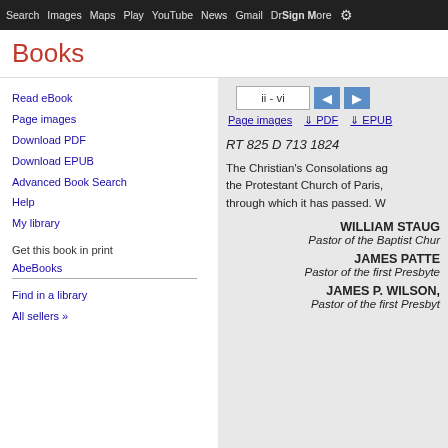Search  Images  Maps  Play  YouTube  News  Gmail  Drive  More  Sign in
Books
Read eBook
Page images
Download PDF
Download EPUB
Advanced Book Search
Help
My library
Get this book in print
AbeBooks
Find in a library
All sellers »
[Figure (screenshot): Book page viewer showing page ii-vi with navigation arrows, PDF and EPUB download links, and partial book content showing 'RT 825 D 713 1824', text about 'The Christian's Consolations' and the Protestant Church of Paris, and author names WILLIAM STAUG..., Pastor of the Baptist Chur..., JAMES PATTE..., Pastor of the first Presbyte..., JAMES P. WILSON, Pastor of the first Presbyt...]